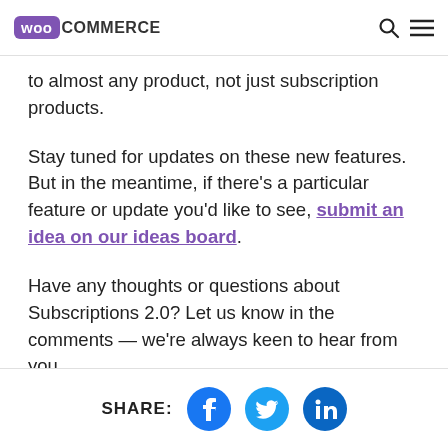WooCommerce
to almost any product, not just subscription products.
Stay tuned for updates on these new features. But in the meantime, if there’s a particular feature or update you’d like to see, submit an idea on our ideas board.
Have any thoughts or questions about Subscriptions 2.0? Let us know in the comments — we’re always keen to hear from you.
SHARE: [Facebook] [Twitter] [LinkedIn]